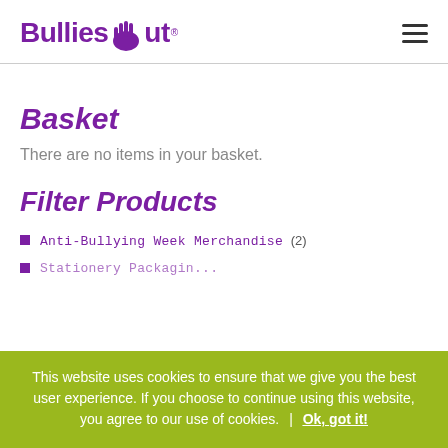BulliesOut (logo with hamburger menu)
Basket
There are no items in your basket.
Filter Products
Anti-Bullying Week Merchandise (2)
(partially visible item)
This website uses cookies to ensure that we give you the best user experience. If you choose to continue using this website, you agree to our use of cookies.  |  Ok, got it!